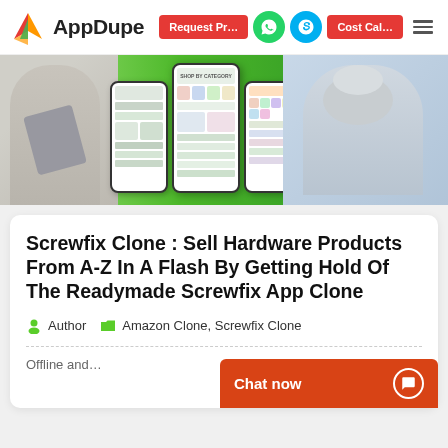AppDupe — Request Price | Cost Calculator | WhatsApp | Skype
[Figure (screenshot): Hero banner showing a woman holding a smartphone, app UI screenshots on phone mockups, and a masked store worker, on a green gradient background]
Screwfix Clone : Sell Hardware Products From A-Z In A Flash By Getting Hold Of The Readymade Screwfix App Clone
Author   Amazon Clone, Screwfix Clone
Offline and...